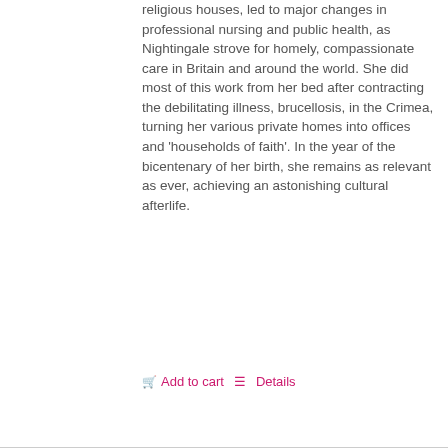religious houses, led to major changes in professional nursing and public health, as Nightingale strove for homely, compassionate care in Britain and around the world. She did most of this work from her bed after contracting the debilitating illness, brucellosis, in the Crimea, turning her various private homes into offices and 'households of faith'. In the year of the bicentenary of her birth, she remains as relevant as ever, achieving an astonishing cultural afterlife.
Add to cart   Details